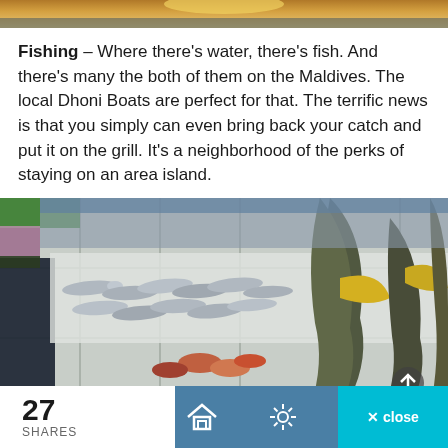[Figure (photo): Top strip of a sunset/landscape image partially visible]
Fishing – Where there's water, there's fish. And there's many the both of them on the Maldives. The local Dhoni Boats are perfect for that. The terrific news is that you simply can even bring back your catch and put it on the grill. It's a neighborhood of the perks of staying on an area island.
[Figure (photo): Photo of various fresh fish laid out on a tiled floor in what appears to be a fish market in the Maldives. Multiple silver fish are arranged on white tiles, with larger fish hanging on the right side.]
27 SHARES  [home icon]  [settings icon]  × close